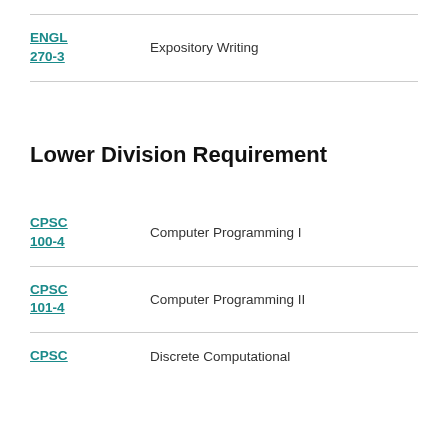ENGL 270-3 — Expository Writing
Lower Division Requirement
CPSC 100-4 — Computer Programming I
CPSC 101-4 — Computer Programming II
CPSC — Discrete Computational